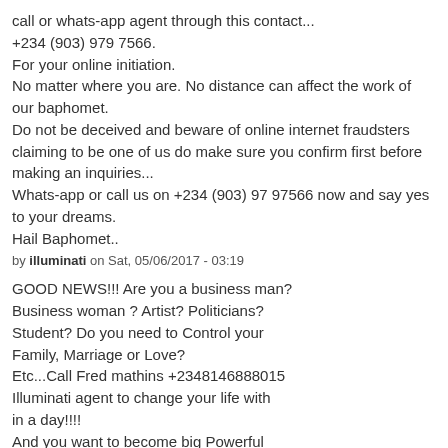call or whats-app agent through this contact... +234 (903) 979 7566. For your online initiation. No matter where you are. No distance can affect the work of our baphomet. Do not be deceived and beware of online internet fraudsters claiming to be one of us do make sure you confirm first before making an inquiries... Whats-app or call us on +234 (903) 97 97566 now and say yes to your dreams. Hail Baphomet..
by illuminati on Sat, 05/06/2017 - 03:19
GOOD NEWS!!! Are you a business man? Business woman ? Artist? Politicians? Student? Do you need to Control your Family, Marriage or Love? Etc...Call Fred mathins +2348146888015 Illuminati agent to change your life with in a day!!!! And you want to become big Powerful